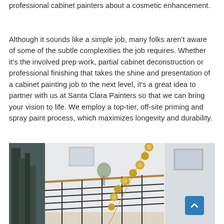professional cabinet painters about a cosmetic enhancement.
Although it sounds like a simple job, many folks aren't aware of some of the subtle complexities the job requires. Whether it's the involved prep work, partial cabinet deconstruction or professional finishing that takes the shine and presentation of a cabinet painting job to the next level, it's a great idea to partner with us at Santa Clara Painters so that we can bring your vision to life. We employ a top-tier, off-site priming and spray paint process, which maximizes longevity and durability.
[Figure (photo): Interior room photo showing a staircase with a modern gold/brass globe pendant light fixture, white walls with framed artwork, and dark metal railing. Partial view of trees through a window on the left.]